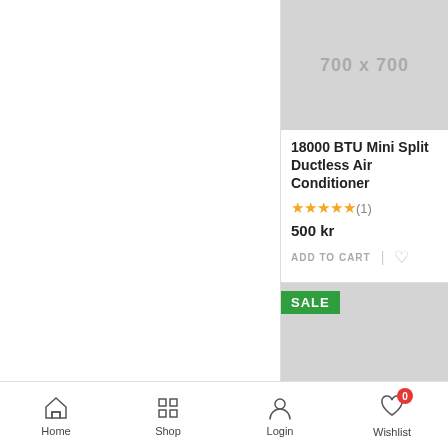[Figure (screenshot): Product image placeholder 700x700 gray box]
18000 BTU Mini Split Ductless Air Conditioner
★★★★★ (1)
500 kr
ADD TO CART | ♡
[Figure (screenshot): Product image placeholder 700x700 gray box with SALE badge]
Home | Shop | Login | Wishlist 0